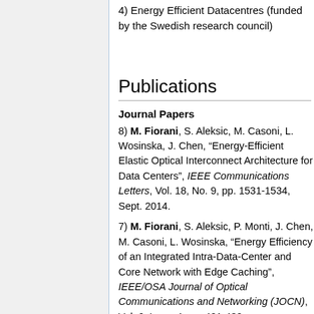4) Energy Efficient Datacentres (funded by the Swedish research council)
Publications
Journal Papers
8) M. Fiorani, S. Aleksic, M. Casoni, L. Wosinska, J. Chen, “Energy-Efficient Elastic Optical Interconnect Architecture for Data Centers”, IEEE Communications Letters, Vol. 18, No. 9, pp. 1531-1534, Sept. 2014.
7) M. Fiorani, S. Aleksic, P. Monti, J. Chen, M. Casoni, L. Wosinska, “Energy Efficiency of an Integrated Intra-Data-Center and Core Network with Edge Caching”, IEEE/OSA Journal of Optical Communications and Networking (JOCN), Vol. 6, Issue 4, pp. 421-432,